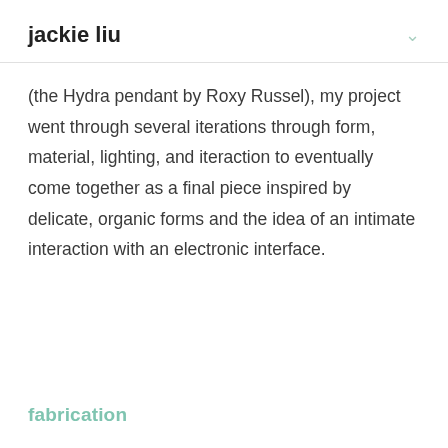jackie liu
(the Hydra pendant by Roxy Russel), my project went through several iterations through form, material, lighting, and iteraction to eventually come together as a final piece inspired by delicate, organic forms and the idea of an intimate interaction with an electronic interface.
fabrication